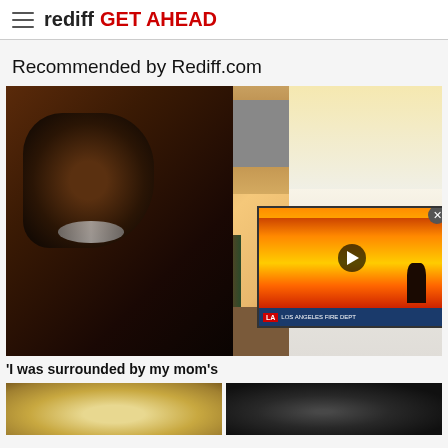rediff GET AHEAD
Recommended by Rediff.com
[Figure (photo): A woman with long brown hair smiling in a kitchen setting, with an overlaid video player showing a fire scene]
'I was surrounded by my mom's
[Figure (photo): Two food images at the bottom: a creamy soup/dal on the left and a dark dish on the right]